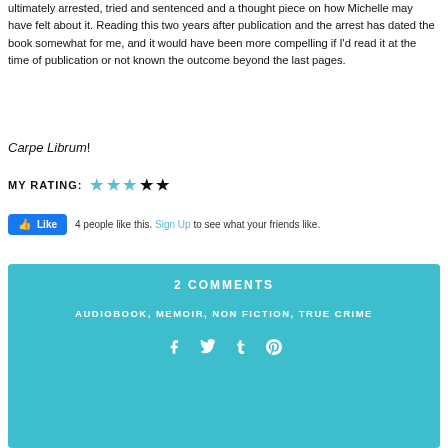ultimately arrested, tried and sentenced and a thought piece on how Michelle may have felt about it. Reading this two years after publication and the arrest has dated the book somewhat for me, and it would have been more compelling if I'd read it at the time of publication or not known the outcome beyond the last pages.
Carpe Librum!
MY RATING: ★ ★ ★ ★ ★ (3 blue stars, 2 black stars)
[Figure (other): Facebook Like button with text: 4 people like this. Sign Up to see what your friends like.]
2 COMMENTS
AUDIOBOOK, MEMOIR, NON FICTION, TRUE CRIME
[Figure (other): Social media share icons: Facebook, Twitter, Tumblr, Pinterest]